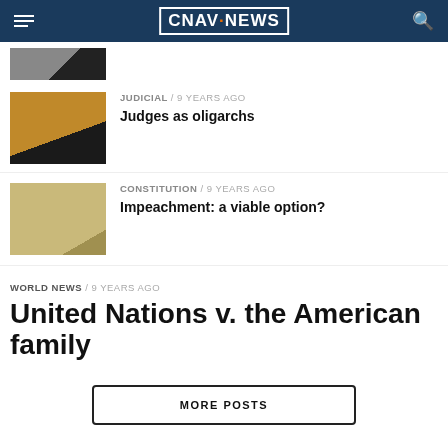CNAV.NEWS
[Figure (photo): Partially visible article thumbnail at top of page]
JUDICIAL / 9 years ago
Judges as oligarchs
CONSTITUTION / 9 years ago
Impeachment: a viable option?
WORLD NEWS / 9 years ago
United Nations v. the American family
MORE POSTS